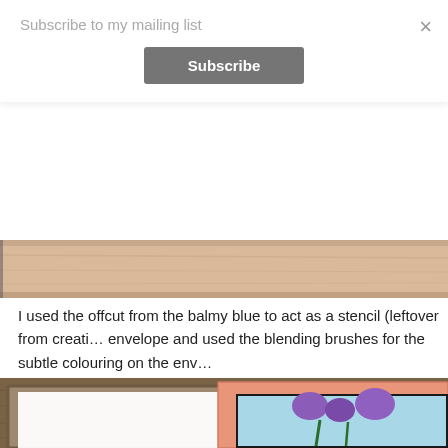Subscribe to my mailing list
Subscribe
×
[Figure (photo): Top portion of a wooden frame with pink/peach colored inner frame, partially visible]
I used the offcut from the balmy blue to act as a stencil (leftover from creating the envelope and used the blending brushes for the subtle colouring on the env…
[Figure (photo): Two picture frames on a wood surface — a rustic wooden frame with a white mat, and a pink/salmon colored frame with a floral artwork showing purple tulips on a light blue background]